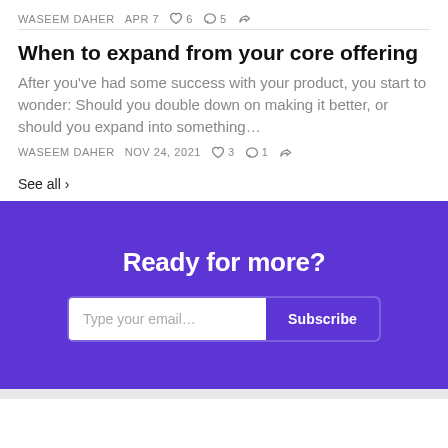WASEEM DAHER  APR 7  ♡ 6  ◯ 5
When to expand from your core offering
After you've had some success with your product, you start to wonder: Should you double down on making it better, or should you expand into something…
WASEEM DAHER  NOV 24, 2021  ♡ 3  ◯ 1
See all ›
Ready for more?